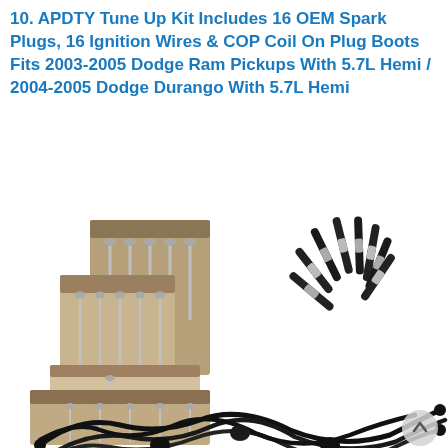10. APDTY Tune Up Kit Includes 16 OEM Spark Plugs, 16 Ignition Wires & COP Coil On Plug Boots Fits 2003-2005 Dodge Ram Pickups With 5.7L Hemi / 2004-2005 Dodge Durango With 5.7L Hemi
[Figure (photo): Product photo showing APDTY Tune Up Kit components: multiple boxes of spark plugs on the left, a fan of ignition wire boots/COP coil-on-plug boots arranged in an arc on the upper right, and ignition wires spread out on the lower right.]